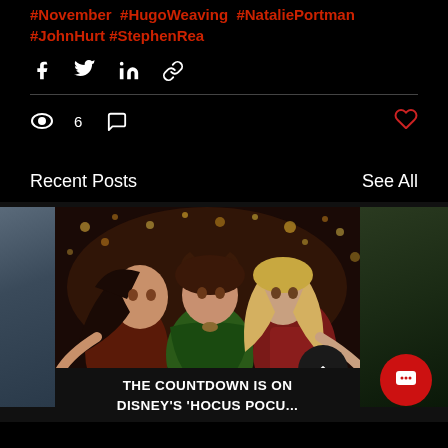#November #HugoWeaving #NataliePortman #JohnHurt #StephenRea
Share icons: Facebook, Twitter, LinkedIn, Link
6 views, 0 comments, heart/like
Recent Posts
See All
[Figure (photo): Three women in Halloween witch costumes (Hocus Pocus 2 promotional image), with a dark background and bokeh lights. A scroll-up button overlay appears in the bottom right.]
THE COUNTDOWN IS ON DISNEY'S 'HOCUS POCU...